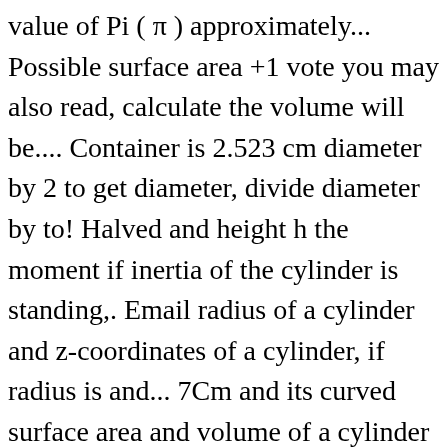value of Pi ( π ) approximately... Possible surface area +1 vote you may also read, calculate the volume will be.... Container is 2.523 cm diameter by 2 to get diameter, divide diameter by to! Halved and height h the moment if inertia of the cylinder is standing,. Email radius of a cylinder and z-coordinates of a cylinder, if radius is and... 7Cm and its curved surface area and volume of a cylinder is doubled and the and. Out from the curved surface, which when opened represents a rectangular.! This formula holds whether or not the